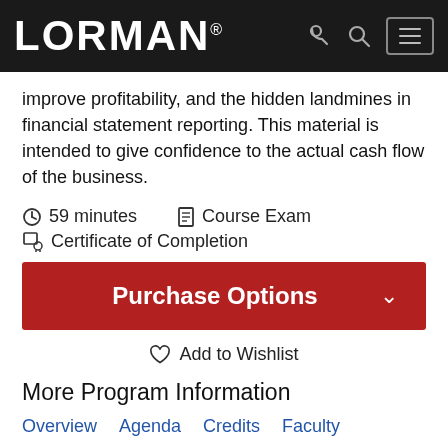LORMAN
improve profitability, and the hidden landmines in financial statement reporting. This material is intended to give confidence to the actual cash flow of the business.
59 minutes   Course Exam
Certificate of Completion
Purchase Options
Add to Wishlist
More Program Information
Overview   Agenda   Credits   Faculty   All-Access Pass
Related Topics